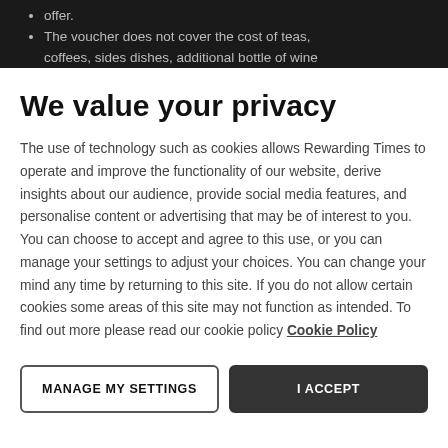offer.
The voucher does not cover the cost of teas, coffees, sides dishes, additional bottle of wine
We value your privacy
The use of technology such as cookies allows Rewarding Times to operate and improve the functionality of our website, derive insights about our audience, provide social media features, and personalise content or advertising that may be of interest to you. You can choose to accept and agree to this use, or you can manage your settings to adjust your choices. You can change your mind any time by returning to this site. If you do not allow certain cookies some areas of this site may not function as intended. To find out more please read our cookie policy Cookie Policy
MANAGE MY SETTINGS
I ACCEPT